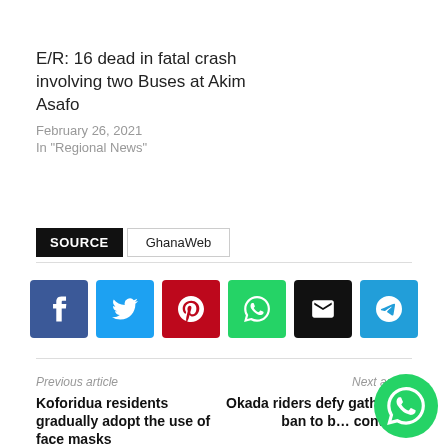E/R: 16 dead in fatal crash involving two Buses at Akim Asafo
February 26, 2021
In "Regional News"
SOURCE   GhanaWeb
[Figure (infographic): Social media share buttons: Facebook, Twitter, Pinterest, WhatsApp, Email, Telegram]
Previous article
Koforidua residents gradually adopt the use of face masks
Next article
Okada riders defy gathering ban to b… continue